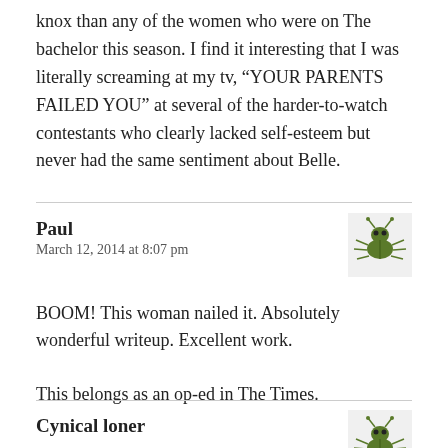knox than any of the women who were on The bachelor this season. I find it interesting that I was literally screaming at my tv, “YOUR PARENTS FAILED YOU” at several of the harder-to-watch contestants who clearly lacked self-esteem but never had the same sentiment about Belle.
Paul
March 12, 2014 at 8:07 pm
[Figure (illustration): Small cartoon bug/beetle avatar image for commenter Paul]
BOOM! This woman nailed it. Absolutely wonderful writeup. Excellent work.

This belongs as an op-ed in The Times.
Cynical loner
[Figure (illustration): Small cartoon bug/beetle avatar image for commenter Cynical loner]